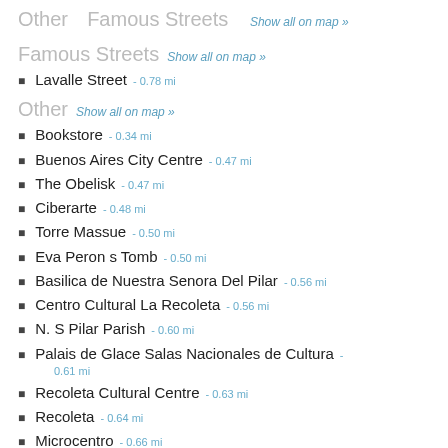Famous Streets  Show all on map »
Lavalle Street  - 0.78 mi
Other  Show all on map »
Bookstore  - 0.34 mi
Buenos Aires City Centre  - 0.47 mi
The Obelisk  - 0.47 mi
Ciberarte  - 0.48 mi
Torre Massue  - 0.50 mi
Eva Peron s Tomb  - 0.50 mi
Basilica de Nuestra Senora Del Pilar  - 0.56 mi
Centro Cultural La Recoleta  - 0.56 mi
N. S Pilar Parish  - 0.60 mi
Palais de Glace Salas Nacionales de Cultura  - 0.61 mi
Recoleta Cultural Centre  - 0.63 mi
Recoleta  - 0.64 mi
Microcentro  - 0.66 mi
Retiro  - 0.69 mi
Plaza San Martin Square  - 0.71 mi